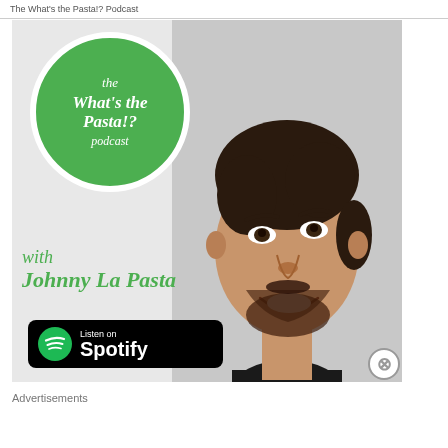The What's the Pasta!? Podcast
[Figure (illustration): Podcast advertisement image for 'the What's the Pasta!? podcast with Johnny La Pasta'. Features a green circle logo with white italic script text, a smiling young man with dark hair and beard on a grey background, the text 'with Johnny La Pasta' in green italic script, and a 'Listen on Spotify' black button with Spotify logo. A close/dismiss button (X in circle) appears at bottom right.]
Advertisements